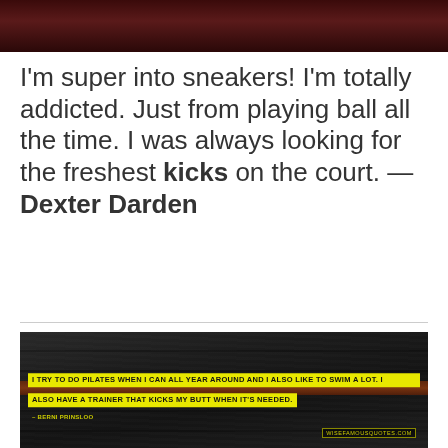[Figure (photo): Dark reddish-brown wooden/textured image at top of page]
I'm super into sneakers! I'm totally addicted. Just from playing ball all the time. I was always looking for the freshest kicks on the court. — Dexter Darden
[Figure (photo): Dark wood background image with yellow highlighted quote text reading 'I TRY TO DO PILATES WHEN I CAN ALL YEAR AROUND AND I ALSO LIKE TO SWIM A LOT. I ALSO HAVE A TRAINER THAT KICKS MY BUTT WHEN IT'S NEEDED.' attributed to Berni Prinsloo, with wisefamousquotes.com watermark]